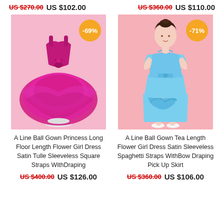US $270.00  US $102.00
US $360.00  US $110.00
[Figure (photo): Hot pink/magenta ball gown flower girl dress on a mannequin stand against a pink background, with a -69% orange circular discount badge]
A Line Ball Gown Princess Long Floor Length Flower Girl Dress Satin Tulle Sleeveless Square Straps WithDraping
US $400.00  US $126.00
[Figure (photo): Young girl wearing a light blue satin sleeveless spaghetti strap ball gown with pick-up skirt draping, against a pink background, with a -71% orange circular discount badge]
A Line Ball Gown Tea Length Flower Girl Dress Satin Sleeveless Spaghetti Straps WithBow Draping Pick Up Skirt
US $360.00  US $106.00